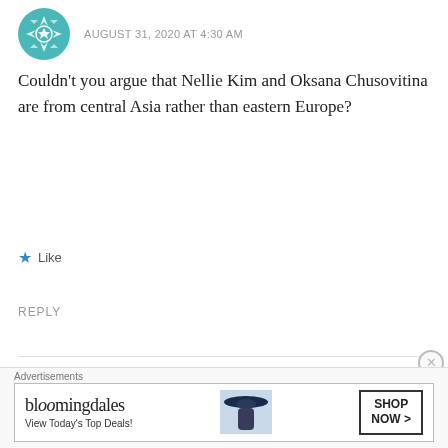AUGUST 31, 2020 AT 4:30 AM
Couldn’t you argue that Nellie Kim and Oksana Chusovitina are from central Asia rather than eastern Europe?
Like
REPLY
Erin
SEPTEMBER 1, 2020 AT 11:38 PM
[Figure (other): Bloomingdales advertisement banner with logo, tagline 'View Today’s Top Deals!' and 'SHOP NOW >' button, woman in wide-brim hat]